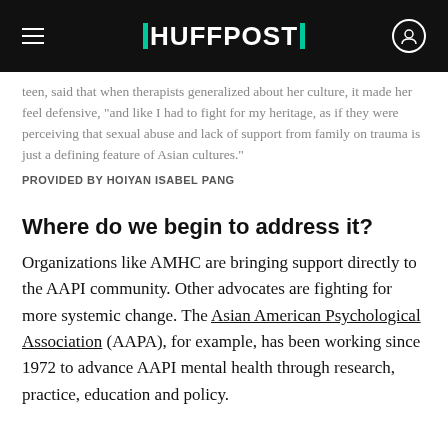HUFFPOST
teen, said that when therapists generalized about her culture, it made her feel defensive, "and like I had to fight for my heritage, as if they were perceiving that sexual abuse and lack of support from family on trauma is just a defining feature of Asian cultures."
PROVIDED BY HOIYAN ISABEL PANG
Where do we begin to address it?
Organizations like AMHC are bringing support directly to the AAPI community. Other advocates are fighting for more systemic change. The Asian American Psychological Association (AAPA), for example, has been working since 1972 to advance AAPI mental health through research, practice, education and policy.